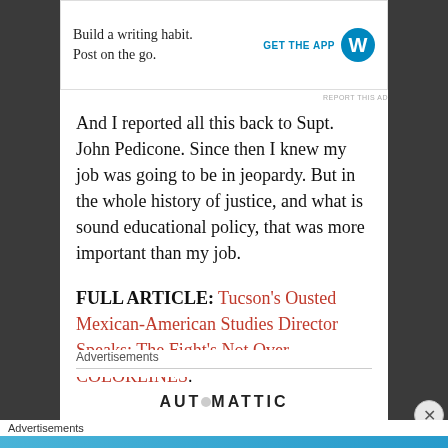[Figure (screenshot): WordPress mobile app advertisement: 'Build a writing habit. Post on the go.' with GET THE APP button and WordPress logo]
REPORT THIS AD
And I reported all this back to Supt. John Pedicone. Since then I knew my job was going to be in jeopardy. But in the whole history of justice, and what is sound educational policy, that was more important than my job.
FULL ARTICLE: Tucson's Ousted Mexican-American Studies Director Speaks: The Fight's Not Over – COLORLINES.
Advertisements
[Figure (logo): AUTOMATTIC logo with circular dot replacing the O]
Advertisements
[Figure (screenshot): Day One journaling app advertisement: 'The only journaling app you'll ever need.' on blue background with app icons]